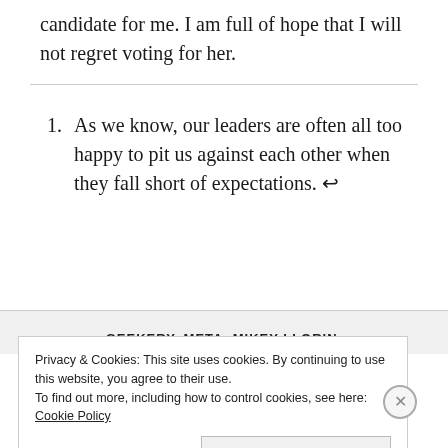candidate for me. I am full of hope that I will not regret voting for her.
1. As we know, our leaders are often all too happy to pit us against each other when they fall short of expectations. ↩
GEEKERY, META, MIKEY LLORIN,
Privacy & Cookies: This site uses cookies. By continuing to use this website, you agree to their use.
To find out more, including how to control cookies, see here: Cookie Policy
Close and accept